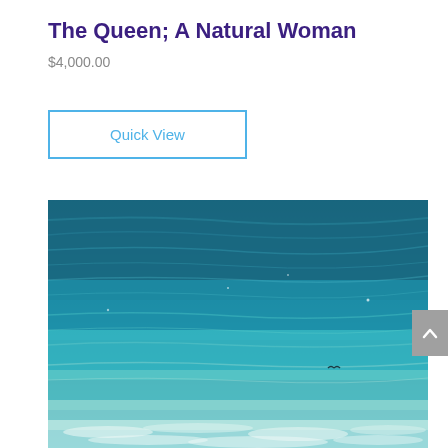The Queen; A Natural Woman
$4,000.00
Quick View
[Figure (photo): A photograph or painting of turquoise ocean water showing gradient from dark blue-green at top to lighter aqua and foamy white at the bottom, possibly an aerial or underwater view of a tropical sea.]